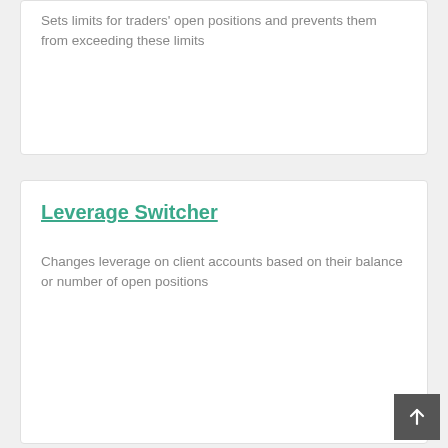Sets limits for traders' open positions and prevents them from exceeding these limits
Leverage Switcher
Changes leverage on client accounts based on their balance or number of open positions